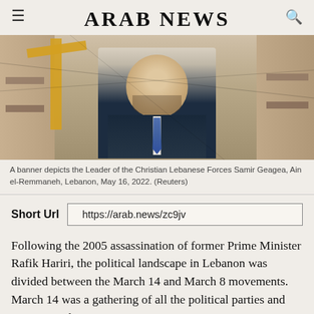ARAB NEWS
[Figure (photo): A banner depicting the Leader of the Christian Lebanese Forces Samir Geagea, hung on a building in Ain el-Remmaneh, Lebanon. A yellow crane is visible to the left. The banner shows a man in a dark suit with a blue tie, smiling.]
A banner depicts the Leader of the Christian Lebanese Forces Samir Geagea, Ain el-Remmaneh, Lebanon, May 16, 2022. (Reuters)
Short Url   https://arab.news/zc9jv
Following the 2005 assassination of former Prime Minister Rafik Hariri, the political landscape in Lebanon was divided between the March 14 and March 8 movements. March 14 was a gathering of all the political parties and voices standing against the Syrian occupation. March 8...